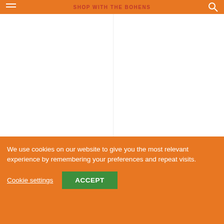SHOP WITH THE BOHENS
'No one knew her': Emma Raducanu, youthful freedom and US Open glory | Emma Raducanu
Harriet in Sassi Holford Puff Sleeves for her Aswarby Rectory Wedding | Love My Dress®
We use cookies on our website to give you the most relevant experience by remembering your preferences and repeat visits.
Cookie settings
ACCEPT